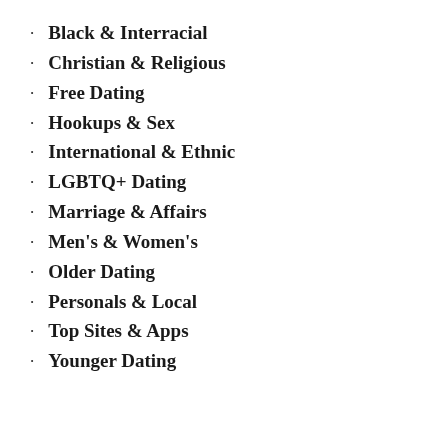Black & Interracial
Christian & Religious
Free Dating
Hookups & Sex
International & Ethnic
LGBTQ+ Dating
Marriage & Affairs
Men's & Women's
Older Dating
Personals & Local
Top Sites & Apps
Younger Dating